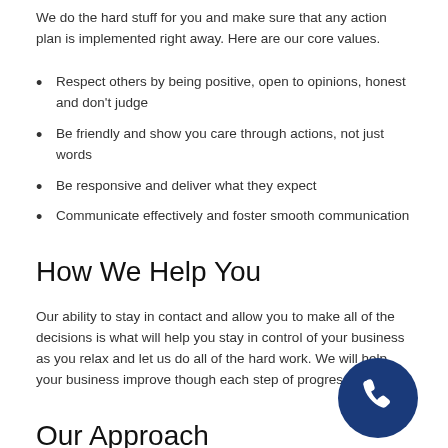We do the hard stuff for you and make sure that any action plan is implemented right away. Here are our core values.
Respect others by being positive, open to opinions, honest and don't judge
Be friendly and show you care through actions, not just words
Be responsive and deliver what they expect
Communicate effectively and foster smooth communication
How We Help You
Our ability to stay in contact and allow you to make all of the decisions is what will help you stay in control of your business as you relax and let us do all of the hard work. We will help your business improve though each step of progress.
Our Approach
Our methods of consultation allows you to develop
[Figure (illustration): Dark blue circle with white phone handset icon]